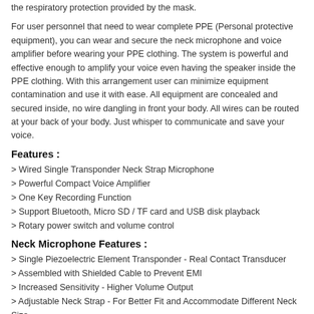the respiratory protection provided by the mask.
For user personnel that need to wear complete PPE (Personal protective equipment), you can wear and secure the neck microphone and voice amplifier before wearing your PPE clothing. The system is powerful and effective enough to amplify your voice even having the speaker inside the PPE clothing. With this arrangement user can minimize equipment contamination and use it with ease. All equipment are concealed and secured inside, no wire dangling in front your body. All wires can be routed at your back of your body. Just whisper to communicate and save your voice.
Features :
> Wired Single Transponder Neck Strap Microphone
> Powerful Compact Voice Amplifier
> One Key Recording Function
> Support Bluetooth, Micro SD / TF card and USB disk playback
> Rotary power switch and volume control
Neck Microphone Features :
> Single Piezoelectric Element Transponder - Real Contact Transducer
> Assembled with Shielded Cable to Prevent EMI
> Increased Sensitivity - Higher Volume Output
> Adjustable Neck Strap - For Better Fit and Accommodate Different Neck Size.